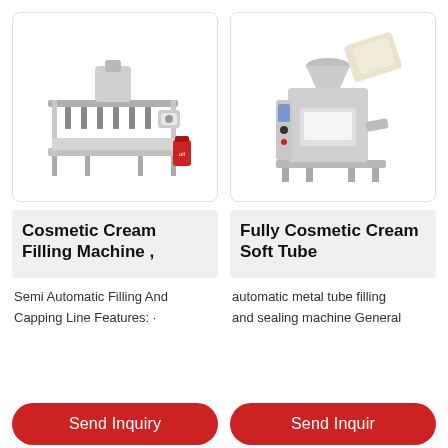[Figure (photo): Industrial cosmetic cream filling machine with multiple filling nozzles aligned in a row, stainless steel construction, with a red container visible at the side.]
[Figure (photo): Fully cosmetic cream soft tube filling and sealing machine, stainless steel, with a hopper and feeding mechanism at top.]
Cosmetic Cream Filling Machine ,
Fully Cosmetic Cream Soft Tube
Semi Automatic Filling And Capping Line Features: ·
automatic metal tube filling and sealing machine General